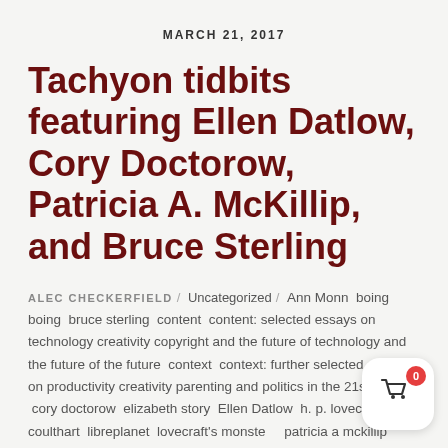MARCH 21, 2017
Tachyon tidbits featuring Ellen Datlow, Cory Doctorow, Patricia A. McKillip, and Bruce Sterling
ALEC CHECKERFIELD / Uncategorized / Ann Monn  boing boing  bruce sterling  content  content: selected essays on technology creativity copyright and the future of technology and the future of the future  context  context: further selected essays on productivity creativity parenting and politics in the 21st century  cory doctorow  elizabeth story  Ellen Datlow  h. p. lovecraft  john coulthart  libreplanet  lovecraft's monsters  patricia a mckillip  soundcloud  sxsw  the center for fiction  forgotten beasts of eld  the infamous jennisfora strikes again Thomas Canty  /